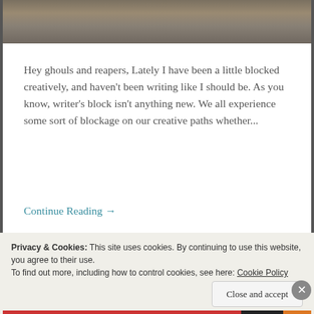[Figure (photo): Cloudy sky background image at top of blog post]
Hey ghouls and reapers, Lately I have been a little blocked creatively, and haven't been writing like I should be. As you know, writer's block isn't anything new. We all experience some sort of blockage on our creative paths whether...
Continue Reading →
Share this:
Twitter
Facebook
Like
Privacy & Cookies: This site uses cookies. By continuing to use this website, you agree to their use.
To find out more, including how to control cookies, see here: Cookie Policy
Close and accept